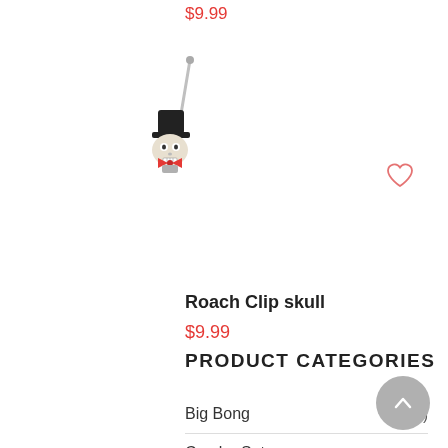$9.99
[Figure (photo): Product photo of a roach clip shaped like a skull figure with a top hat and red accessory, held by a metal clip/pin]
Roach Clip skull
$9.99
PRODUCT CATEGORIES
Big Bong (5)
Combo Set (38)
Concentrate Utensils (293)